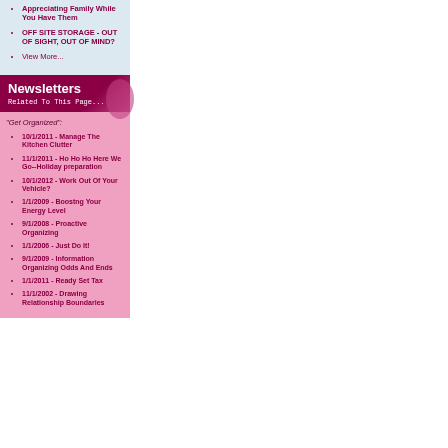Appreciating Family While You Have Them
OFF SITE STORAGE - OUT OF SIGHT, OUT OF MIND?
View More...
Newsletters
Related To This Page...
"Get Organized":
10/1/2011 - Manage The Kitchen Clutter
11/1/2011 - Ho Ho Ho Here We Go--Holiday preparation
10/1/2012 - Work Out Of Your Vehicle?
1/1/2009 - Boostng Your Energy Level
9/1/2008 - Proactive Organizing
1/1/2006 - Just Do It!
9/1/2009 - Information Organizing Odds And Ends
1/1/2011 - Ready Set Tax
11/1/2002 - Drawing Relationship Boundaries